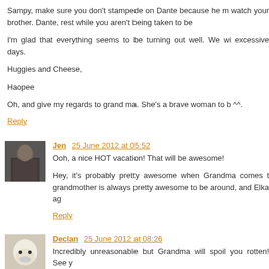Sampy, make sure you don't stampede on Dante because he m watch your brother. Dante, rest while you aren't being taken to be
I'm glad that everything seems to be turning out well. We wi excessive days.
Huggies and Cheese,
Haopee
Oh, and give my regards to grand ma. She's a brave woman to b ^.
Reply
Jen  25 June 2012 at 05:52
Ooh, a nice HOT vacation! That will be awesome!
Hey, it's probably pretty awesome when Grandma comes t grandmother is always pretty awesome to be around, and Elka ag
Reply
Declan  25 June 2012 at 08:26
Incredibly unreasonable but Grandma will spoil you rotten! See y
Reply